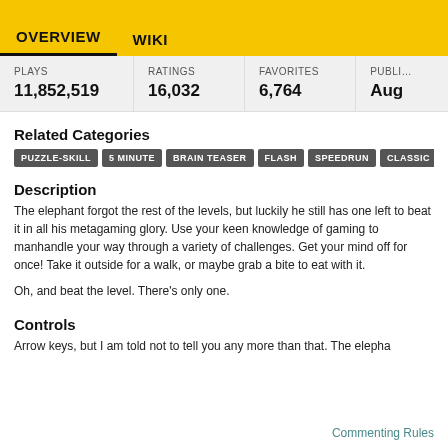OVERVIEW   WIKI
| PLAYS | RATINGS | FAVORITES | PUBLI... |
| --- | --- | --- | --- |
| 11,852,519 | 16,032 | 6,764 | Aug |
Related Categories
PUZZLE-SKILL
5 MINUTE
BRAIN TEASER
FLASH
SPEEDRUN
CLASSIC
Description
The elephant forgot the rest of the levels, but luckily he still has one left to beat it in all his metagaming glory. Use your keen knowledge of gaming to manhandle your way through a variety of challenges. Get your mind off for once! Take it outside for a walk, or maybe grab a bite to eat with it.
Oh, and beat the level. There's only one.
Controls
Arrow keys, but I am told not to tell you any more than that. The elepha
Commenting Rules